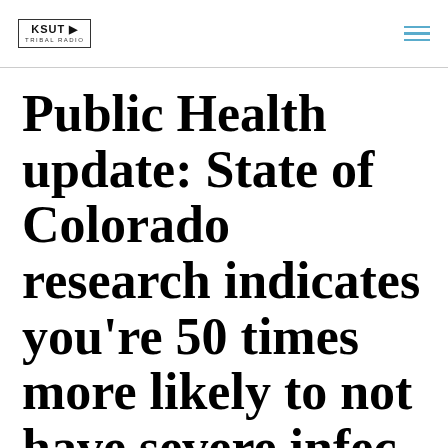KSUT Tribal Radio
Public Health update: State of Colorado research indicates you're 50 times more likely to not have severe infection, or...